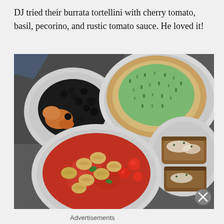DJ tried their burrata tortellini with cherry tomato, basil, pecorino, and rustic tomato sauce. He loved it!
[Figure (photo): Overhead view of multiple restaurant dishes on a table: a plate of black pasta with seafood (top left), a pizza with green toppings on a large plate (top center/right), a plate of tortellini in rustic red tomato sauce with cherry tomatoes (bottom center/left), and a plate of garlic bread or bruschetta with cheese (right center). A close button (X in a circle) is visible at the bottom right corner of the image.]
Advertisements